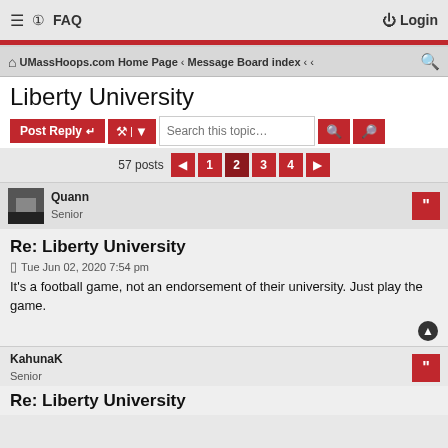≡ FAQ  Login
🏠 UMassHoops.com Home Page ‹ Message Board index ‹ ‹
Liberty University
57 posts  ◄  1  2  3  4  ►
Quann
Senior
Re: Liberty University
Tue Jun 02, 2020 7:54 pm
It's a football game, not an endorsement of their university. Just play the game.
KahunaK
Senior
Re: Liberty University